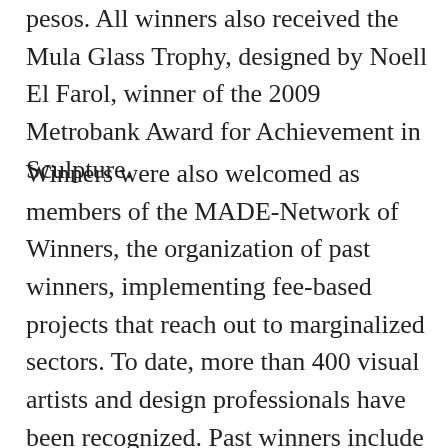pesos. All winners also received the Mula Glass Trophy, designed by Noell El Farol, winner of the 2009 Metrobank Award for Achievement in Sculpture.
Winners were also welcomed as members of the MADE-Network of Winners, the organization of past winners, implementing fee-based projects that reach out to marginalized sectors. To date, more than 400 visual artists and design professionals have been recognized. Past winners include Elmer Borlongan, Mark Justiniani, Jan Leeroy New, Alfredo Esquillo, Andres Barrioquinto, Yeo Kaa and Cedrick dela Paz.